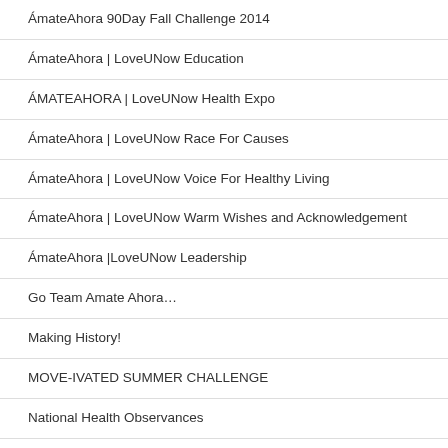ÁmateAhora 90Day Fall Challenge 2014
ÁmateAhora | LoveUNow Education
ÁMATEAHORA | LoveUNow Health Expo
ÁmateAhora | LoveUNow Race For Causes
ÁmateAhora | LoveUNow Voice For Healthy Living
ÁmateAhora | LoveUNow Warm Wishes and Acknowledgement
ÁmateAhora |LoveUNow Leadership
Go Team Amate Ahora…
Making History!
MOVE-IVATED SUMMER CHALLENGE
National Health Observances